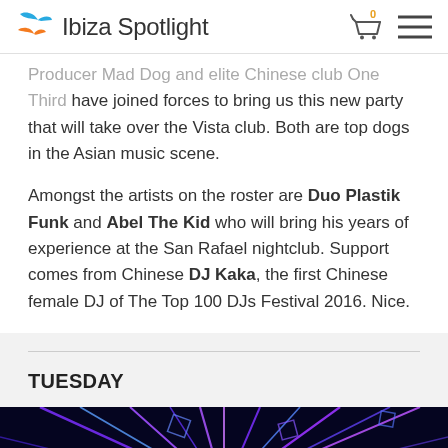Ibiza Spotlight
...Producer Mad Dog and elite Chinese club One Third have joined forces to bring us this new party that will take over the Vista club. Both are top dogs in the Asian music scene.
Amongst the artists on the roster are Duo Plastik Funk and Abel The Kid who will bring his years of experience at the San Rafael nightclub. Support comes from Chinese DJ Kaka, the first Chinese female DJ of The Top 100 DJs Festival 2016. Nice.
TUESDAY
[Figure (photo): Concert laser light show with blue and purple rays against a dark background]